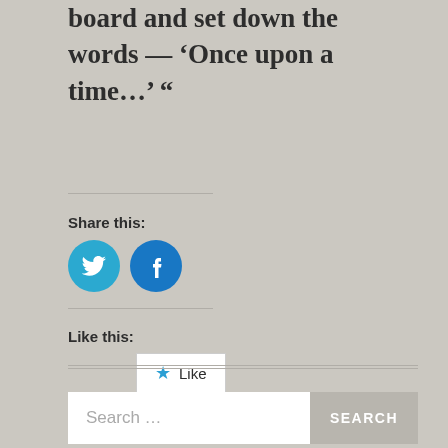board and set down the words — ‘Once upon a time…’ “
Share this:
[Figure (illustration): Twitter bird icon in a blue circle and Facebook 'f' icon in a blue circle, side by side as social share buttons]
Like this:
[Figure (illustration): A white button with a blue star icon and the word 'Like']
Be the first to like this.
Search …